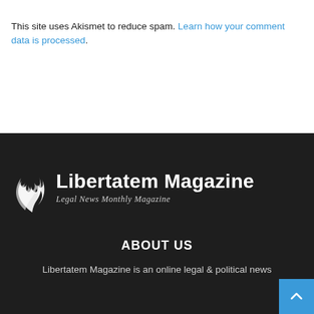This site uses Akismet to reduce spam. Learn how your comment data is processed.
[Figure (logo): Libertatem Magazine logo with stylized white flame/S icon and text 'Libertatem Magazine' with subtitle 'Legal News Monthly Magazine' on dark background]
ABOUT US
Libertatem Magazine is an online legal & political news